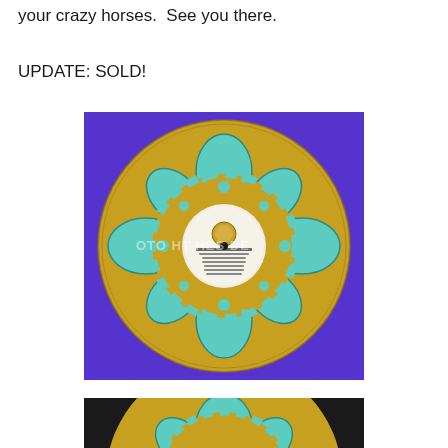your crazy horses.  See you there.
UPDATE: SOLD!
[Figure (photo): A vinyl record painted with a blue and teal mandala/henna-style decorative pattern on a purple background. The record label in the center shows MGM Records. A watermark reads across the middle of the image.]
[Figure (photo): Partial view of another vinyl record painted with a similar teal mandala-style decorative pattern, cropped showing mostly the top half of the record against a dark background.]